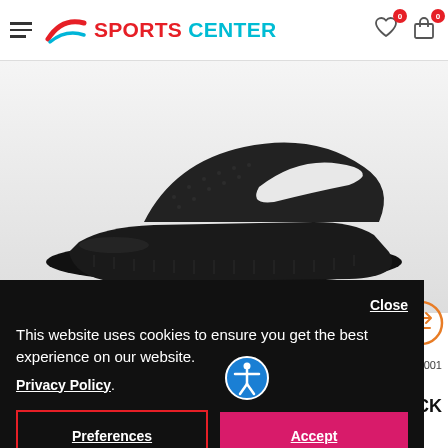Sports Center – navigation header with hamburger menu, logo, wishlist and cart icons
[Figure (photo): Black Nike slide sandal (Kawa Shower Slide) on white/grey gradient background, viewed from the side]
Close
This website uses cookies to ensure you get the best experience on our website. Privacy Policy.
Preferences
Accept
BQ6831-001
ACK
25,00€